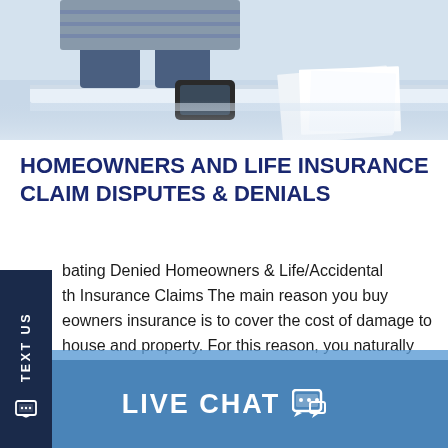[Figure (photo): Photo of a person sitting at a glass desk with papers and documents, viewed from the waist down showing jeans and a striped shirt, office/meeting setting]
HOMEOWNERS AND LIFE INSURANCE CLAIM DISPUTES & DENIALS
Combating Denied Homeowners & Life/Accidental Death Insurance Claims The main reason you buy homeowners insurance is to cover the cost of damage to your house and property. For this reason, you naturally expect the insurance company to cooperate and cover the costs after a hailstorm, fire or other disaster. Similarly, you purchase life or accidental...
LIVE CHAT